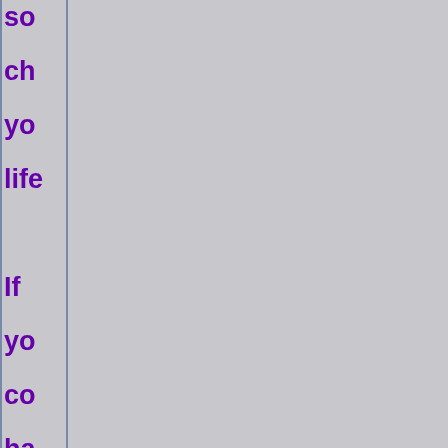so ch yo life If yo co ha dir wit thr de mu wh thr wo yo ch an